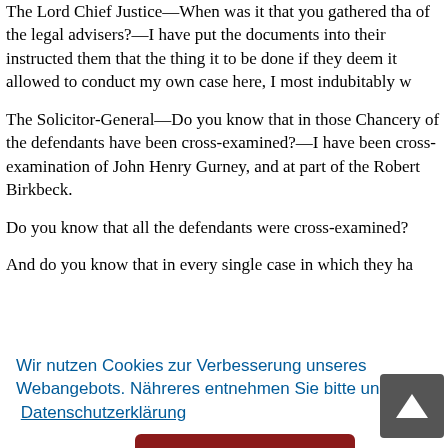The Lord Chief Justice—When was it that you gathered that of the legal advisers?—I have put the documents into their p instructed them that the thing it to be done if they deem it allowed to conduct my own case here, I most indubitably w
The Solicitor-General—Do you know that in those Chancery of the defendants have been cross-examined?—I have been cross-examination of John Henry Gurney, and at part of the Robert Birkbeck.
Do you know that all the defendants were cross-examined?
And do you know that in every single case in which they ha nswer the
d to the C ngs, but l that he w t the pros
Wir nutzen Cookies zur Verbesserung unseres Webangebots. Nähreres entnehmen Sie bitte unserer Datenschutzerklärung
Einverstanden
any other purpose than the prosecution itself.